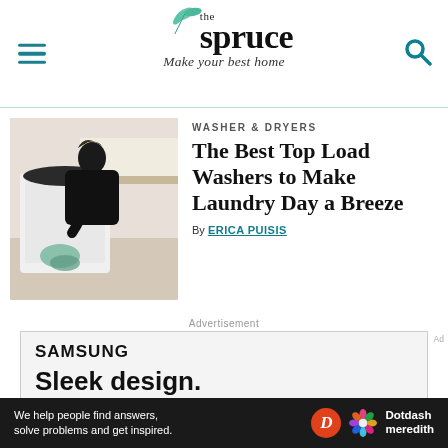the spruce — Make your best home
[Figure (photo): Woman loading or unloading laundry from a top-load washing machine in a bright laundry room with wood countertops]
WASHER & DRYERS
The Best Top Load Washers to Make Laundry Day a Breeze
By ERICA PUISIS
Advertisement
[Figure (screenshot): Samsung advertisement reading 'Sleek design. Pocket perfect.']
We help people find answers, solve problems and get inspired. Dotdash meredith